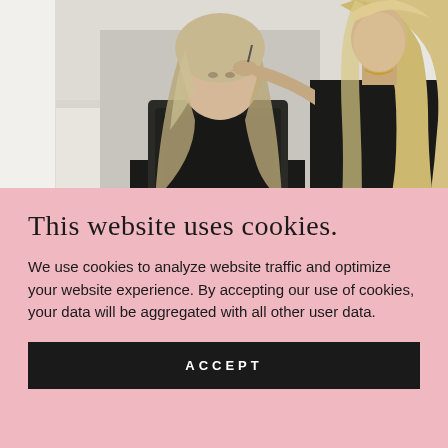[Figure (photo): Photo of a makeup artist applying eyebrow makeup to a young woman with long blonde hair, both wearing black clothing, in a bright studio setting]
BROWS
This website uses cookies.
We use cookies to analyze website traffic and optimize your website experience. By accepting our use of cookies, your data will be aggregated with all other user data.
ACCEPT